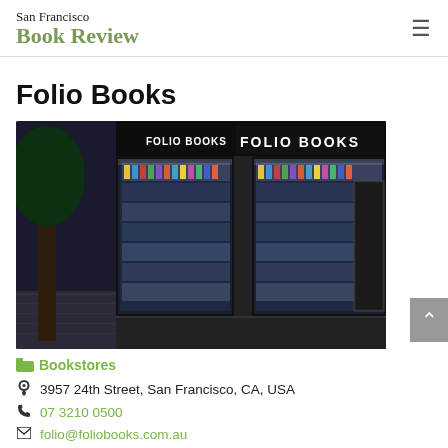San Francisco Book Review
Folio Books
[Figure (photo): Exterior night-time photo of Folio Books bookstore showing lit display windows filled with books and 'FOLIO BOOKS' signage]
Bookstores
3957 24th Street, San Francisco, CA, USA
07 3210 0500
folio@foliobooks.com.au